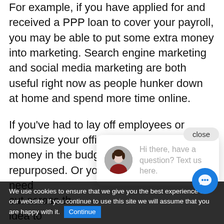For example, if you have applied for and received a PPP loan to cover your payroll, you may be able to put some extra money into marketing. Search engine marketing and social media marketing are both useful right now as people hunker down at home and spend more time online.
If you've had to lay off employees or downsize your office, you may have money in the budget that can be repurposed. Or you may need to cut across the idea to review out what's g term.
It's also worth noting that the reallocation process should include ing. It may take some trial and error to arrive at the most
We use cookies to ensure that we give you the best experience on our website. If you continue to use this site we will assume that you are happy with it. Continue